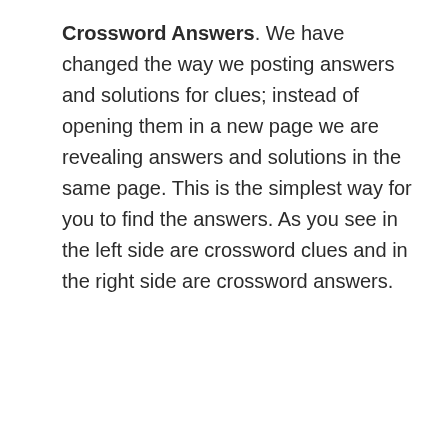Crossword Answers. We have changed the way we posting answers and solutions for clues; instead of opening them in a new page we are revealing answers and solutions in the same page. This is the simplest way for you to find the answers. As you see in the left side are crossword clues and in the right side are crossword answers.